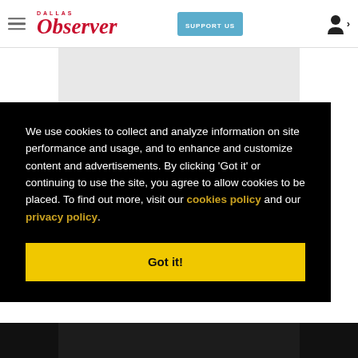Dallas Observer — SUPPORT US
We use cookies to collect and analyze information on site performance and usage, and to enhance and customize content and advertisements. By clicking 'Got it' or continuing to use the site, you agree to allow cookies to be placed. To find out more, visit our cookies policy and our privacy policy.
Got it!